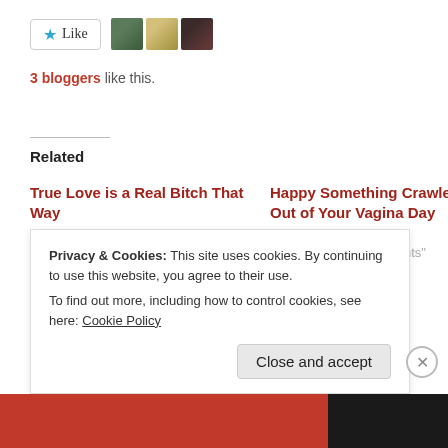[Figure (screenshot): Like button with star icon and three blogger avatar thumbnails]
3 bloggers like this.
Related
True Love is a Real Bitch That Way
February 23, 2012
In "Overly simple thoughts"
Happy Something Crawled Out of Your Vagina Day
May 12, 2013
In "Overly simple thoughts"
I Swear I Don't Ask for Much
April 17, 2013
In "Overly simple thoughts"
Privacy & Cookies: This site uses cookies. By continuing to use this website, you agree to their use.
To find out more, including how to control cookies, see here: Cookie Policy
Close and accept